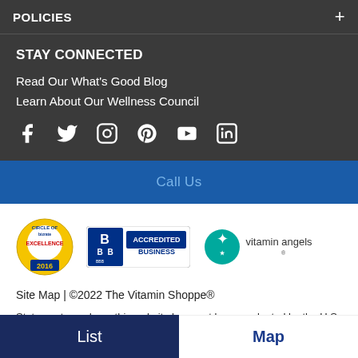POLICIES
STAY CONNECTED
Read Our What's Good Blog
Learn About Our Wellness Council
[Figure (infographic): Social media icons: Facebook, Twitter, Instagram, Pinterest, YouTube, LinkedIn]
Call Us
[Figure (logo): Bizrate Circle of Excellence 2016 badge, BBB Accredited Business badge, Vitamin Angels logo]
Site Map | ©2022 The Vitamin Shoppe®
Statements made on this website have not been evaluated by the U.S. Food and Drug Administration. These products are not intended to diagnose, treat, cure
List  Map